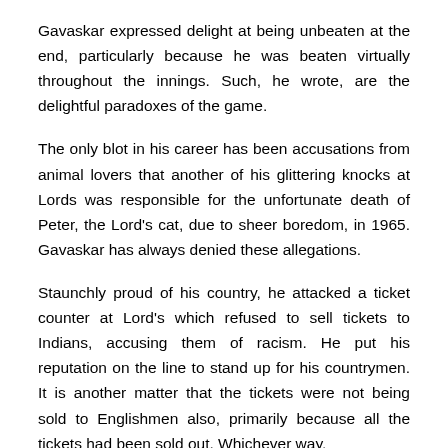Gavaskar expressed delight at being unbeaten at the end, particularly because he was beaten virtually throughout the innings. Such, he wrote, are the delightful paradoxes of the game.
The only blot in his career has been accusations from animal lovers that another of his glittering knocks at Lords was responsible for the unfortunate death of Peter, the Lord's cat, due to sheer boredom, in 1965. Gavaskar has always denied these allegations.
Staunchly proud of his country, he attacked a ticket counter at Lord's which refused to sell tickets to Indians, accusing them of racism. He put his reputation on the line to stand up for his countrymen. It is another matter that the tickets were not being sold to Englishmen also, primarily because all the tickets had been sold out. Whichever way,